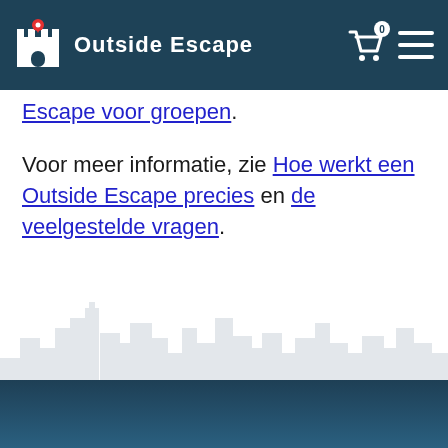Outside Escape — navigation header with logo, cart icon (0), and menu
Escape voor groepen.
Voor meer informatie, zie Hoe werkt een Outside Escape precies en de veelgestelde vragen.
[Figure (illustration): Light grey city skyline silhouette watermark on white background]
Dark teal gradient footer bar